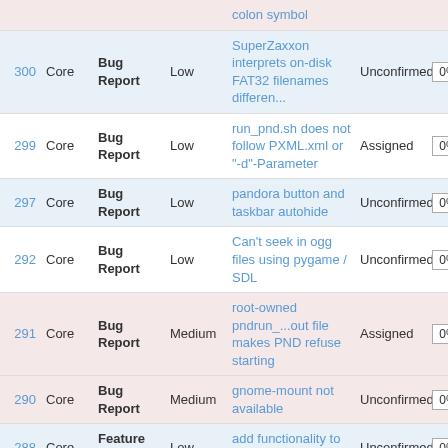| ID | Component | Type | Severity | Summary | Status | % |
| --- | --- | --- | --- | --- | --- | --- |
| 300 | Core | Bug Report | Low | SuperZaxxon interprets on-disk FAT32 filenames differen... | Unconfirmed | 0% |
| 299 | Core | Bug Report | Low | run_pnd.sh does not follow PXML.xml or "-d"-Parameter | Assigned | 0% |
| 297 | Core | Bug Report | Low | pandora button and taskbar autohide | Unconfirmed | 0% |
| 292 | Core | Bug Report | Low | Can't seek in ogg files using pygame / SDL | Unconfirmed | 0% |
| 291 | Core | Bug Report | Medium | root-owned pndrun_...out file makes PND refuse starting | Assigned | 0% |
| 290 | Core | Bug Report | Medium | gnome-mount not available | Unconfirmed | 0% |
| 288 | Core | Feature Request | Low | add functionality to inputrc | Unconfirmed | 0% |
| 279 | Core | Bug Report | Very | Power-slider & lid-close events: | New | 0% |